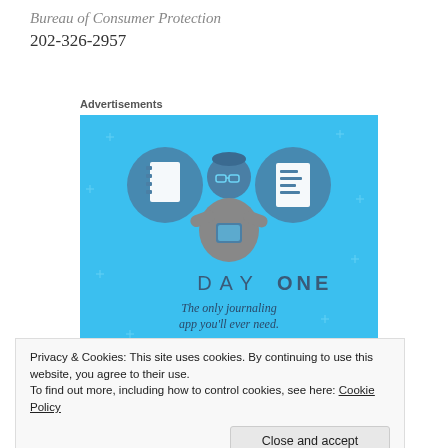Bureau of Consumer Protection
202-326-2957
Advertisements
[Figure (illustration): Advertisement for Day One journaling app on a blue background, featuring illustrated icons of a notebook and a list, a person holding a phone, text 'DAY ONE', 'The only journaling app you'll ever need.', and a 'Get the app' button.]
Privacy & Cookies: This site uses cookies. By continuing to use this website, you agree to their use.
To find out more, including how to control cookies, see here: Cookie Policy
Close and accept